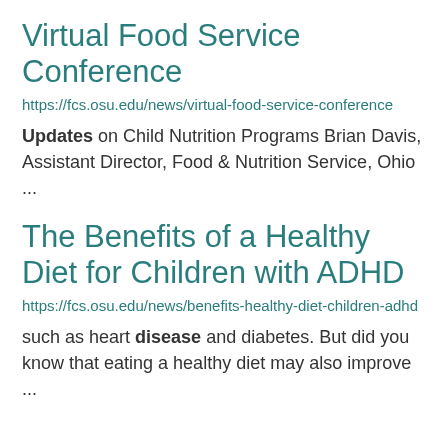Virtual Food Service Conference
https://fcs.osu.edu/news/virtual-food-service-conference
Updates on Child Nutrition Programs Brian Davis, Assistant Director, Food & Nutrition Service, Ohio ...
The Benefits of a Healthy Diet for Children with ADHD
https://fcs.osu.edu/news/benefits-healthy-diet-children-adhd
such as heart disease and diabetes. But did you know that eating a healthy diet may also improve ...